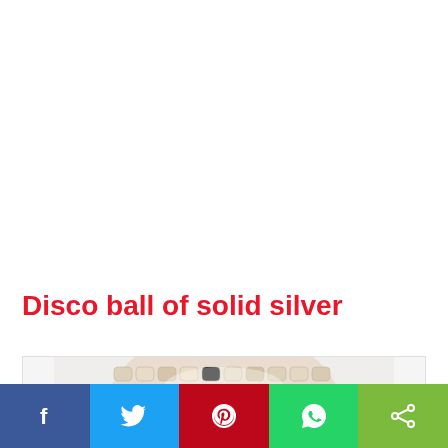Disco ball of solid silver
[Figure (photo): Close-up photo of a disco ball made of solid silver material, showing textured metallic surface with multiple small reflective facets arranged in rows]
[Figure (other): Social media share bar with Facebook (blue), Twitter (light blue), Pinterest (red), WhatsApp (green), and Share (lime green) buttons]